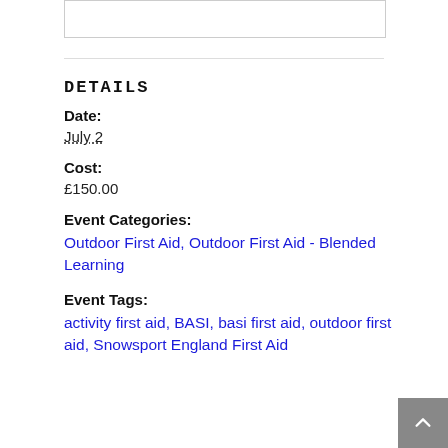DETAILS
Date:
July 2
Cost:
£150.00
Event Categories:
Outdoor First Aid, Outdoor First Aid - Blended Learning
Event Tags:
activity first aid, BASI, basi first aid, outdoor first aid, Snowsport England First Aid